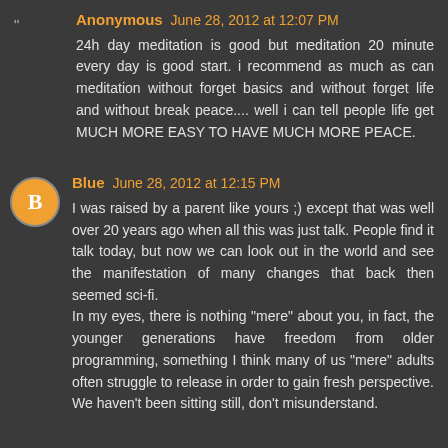Anonymous June 28, 2012 at 12:07 PM
24h day meditation is good but meditation 20 minute every day is good start. i recommend as much as can meditation without forget basics and without forget life and without break peace.... well i can tell people life get MUCH MORE EASY TO HAVE MUCH MORE PEACE.
Blue June 28, 2012 at 12:15 PM
I was raised by a parent like yours ;) except that was well over 20 years ago when all this was just talk. People find it talk today, but now we can look out in the world and see the manifestation of many changes that back then seemed sci-fi.
In my eyes, there is nothing "mere" about you, in fact, the younger generations have freedom from older programming, something I think many of us "mere" adults often struggle to release in order to gain fresh perspective.
We haven't been sitting still, don't misunderstand.